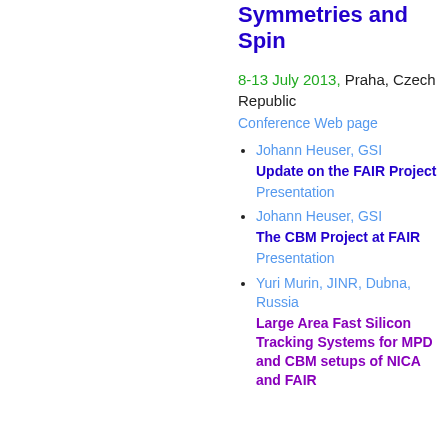Symmetries and Spin
8-13 July 2013, Praha, Czech Republic
Conference Web page
Johann Heuser, GSI
Update on the FAIR Project
Presentation
Johann Heuser, GSI
The CBM Project at FAIR
Presentation
Yuri Murin, JINR, Dubna, Russia
Large Area Fast Silicon Tracking Systems for MPD and CBM setups of NICA and FAIR